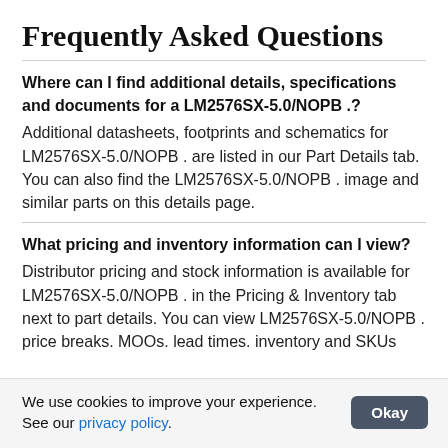Frequently Asked Questions
Where can I find additional details, specifications and documents for a LM2576SX-5.0/NOPB .?
Additional datasheets, footprints and schematics for LM2576SX-5.0/NOPB . are listed in our Part Details tab. You can also find the LM2576SX-5.0/NOPB . image and similar parts on this details page.
What pricing and inventory information can I view?
Distributor pricing and stock information is available for LM2576SX-5.0/NOPB . in the Pricing & Inventory tab next to part details. You can view LM2576SX-5.0/NOPB . price breaks. MOOs. lead times. inventory and SKUs
We use cookies to improve your experience. See our privacy policy.